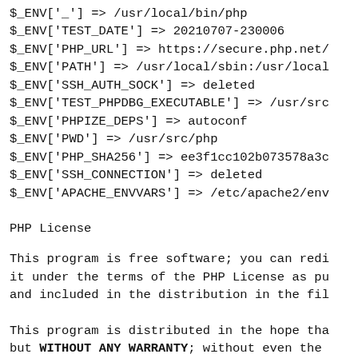$_ENV['_'] => /usr/local/bin/php
$_ENV['TEST_DATE'] => 20210707-230006
$_ENV['PHP_URL'] => https://secure.php.net/
$_ENV['PATH'] => /usr/local/sbin:/usr/local
$_ENV['SSH_AUTH_SOCK'] => deleted
$_ENV['TEST_PHPDBG_EXECUTABLE'] => /usr/src
$_ENV['PHPIZE_DEPS'] => autoconf
$_ENV['PWD'] => /usr/src/php
$_ENV['PHP_SHA256'] => ee3f1cc102b073578a3c
$_ENV['SSH_CONNECTION'] => deleted
$_ENV['APACHE_ENVVARS'] => /etc/apache2/env
PHP License
This program is free software; you can redi
it under the terms of the PHP License as pu
and included in the distribution in the fil
This program is distributed in the hope tha
but WITHOUT ANY WARRANTY; without even the